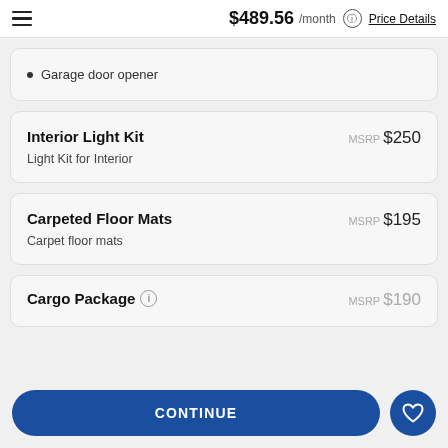$489.56 /month Price Details
Garage door opener
Interior Light Kit
MSRP $250
Light Kit for Interior
Carpeted Floor Mats
MSRP $195
Carpet floor mats
Cargo Package
MSRP $190
CONTINUE